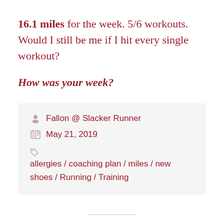16.1 miles for the week. 5/6 workouts. Would I still be me if I hit every single workout?
How was your week?
Fallon @ Slacker Runner
May 21, 2019
allergies / coaching plan / miles / new shoes / Running / Training